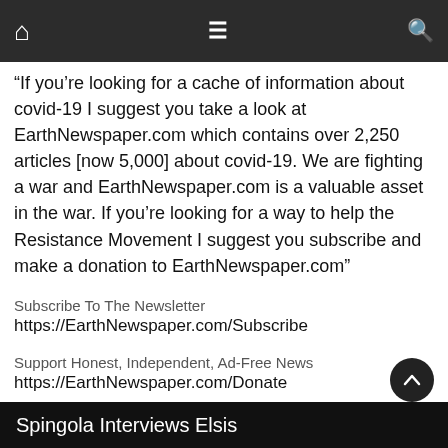Home | Menu | Search
“If you’re looking for a cache of information about covid-19 I suggest you take a look at EarthNewspaper.com which contains over 2,250 articles [now 5,000] about covid-19. We are fighting a war and EarthNewspaper.com is a valuable asset in the war. If you’re looking for a way to help the Resistance Movement I suggest you subscribe and make a donation to EarthNewspaper.com”
Subscribe To The Newsletter
https://EarthNewspaper.com/Subscribe
Support Honest, Independent, Ad-Free News
https://EarthNewspaper.com/Donate
Spingola Interviews Elsis